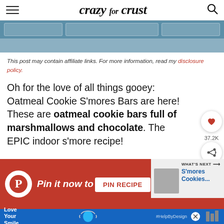crazy for crust
This post may contain affiliate links. For more information, read my disclosure policy.
Oh for the love of all things gooey: Oatmeal Cookie S'mores Bars are here! These are oatmeal cookie bars full of marshmallows and chocolate. The EPIC indoor s'more recipe!
[Figure (infographic): Pinterest banner: Pin it now to save for later with a PIN RECIPE button and a What's Next panel showing S'mores Cookies...]
[Figure (infographic): Advertisement banner at bottom: Love Your Smile with a dental/mask graphic and #HelpByDesign hashtag]